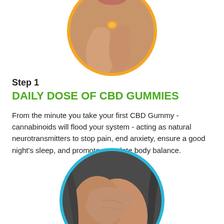[Figure (photo): Close-up circular photo with orange border showing a person holding a small orange CBD gummy between their fingers, cropped at the top of the page.]
Step 1
DAILY DOSE OF CBD GUMMIES
From the minute you take your first CBD Gummy - cannabinoids will flood your system - acting as natural neurotransmitters to stop pain, end anxiety, ensure a good night's sleep, and promote complete body balance.
[Figure (photo): Circular photo with light blue/cyan border showing a person's arm/elbow crossed over their body, wearing a dark grey shirt, visible at the bottom of the page.]